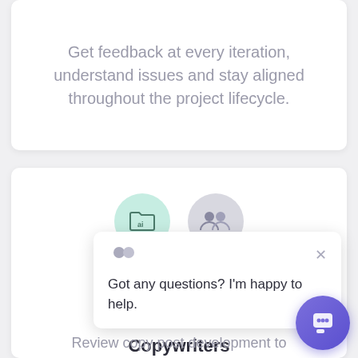Get feedback at every iteration, understand issues and stay aligned throughout the project lifecycle.
[Figure (screenshot): Screenshot of a web UI card section showing icons for Copywriters category with a chat popup overlay saying 'Got any questions? I'm happy to help.' and a purple chat button in the bottom right corner.]
Copywriters
Review copy post development to